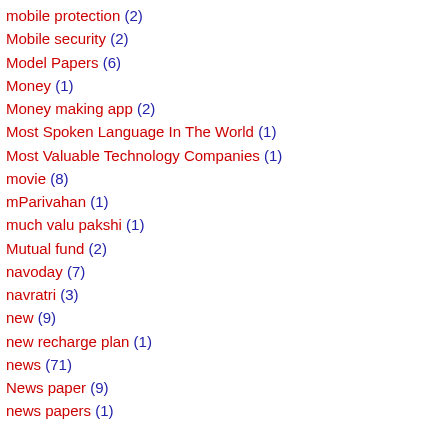mobile protection (2)
Mobile security (2)
Model Papers (6)
Money (1)
Money making app (2)
Most Spoken Language In The World (1)
Most Valuable Technology Companies (1)
movie (8)
mParivahan (1)
much valu pakshi (1)
Mutual fund (2)
navoday (7)
navratri (3)
new (9)
new recharge plan (1)
news (71)
News paper (9)
news papers (1)